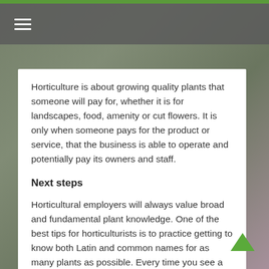≡
Horticulture is about growing quality plants that someone will pay for, whether it is for landscapes, food, amenity or cut flowers. It is only when someone pays for the product or service, that the business is able to operate and potentially pay its owners and staff.
Next steps
Horticultural employers will always value broad and fundamental plant knowledge. One of the best tips for horticulturists is to practice getting to know both Latin and common names for as many plants as possible. Every time you see a plant, look up its names, both official (Latin) and common.